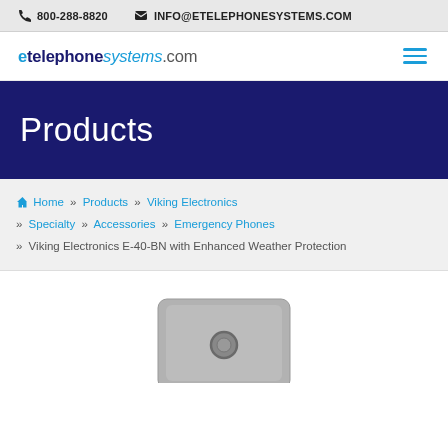800-288-8820   INFO@ETELEPHONESYSTEMS.COM
[Figure (logo): etelephonesystems.com logo with hamburger menu icon]
Products
Home » Products » Viking Electronics » Specialty » Accessories » Emergency Phones » Viking Electronics E-40-BN with Enhanced Weather Protection
[Figure (photo): Viking Electronics E-40-BN device, gray metal panel with circular button, partially visible]